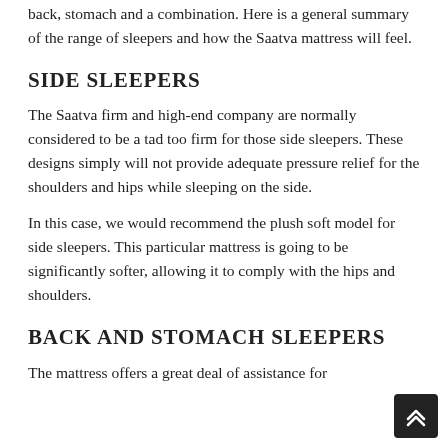back, stomach and a combination. Here is a general summary of the range of sleepers and how the Saatva mattress will feel.
SIDE SLEEPERS
The Saatva firm and high-end company are normally considered to be a tad too firm for those side sleepers. These designs simply will not provide adequate pressure relief for the shoulders and hips while sleeping on the side.
In this case, we would recommend the plush soft model for side sleepers. This particular mattress is going to be significantly softer, allowing it to comply with the hips and shoulders.
BACK AND STOMACH SLEEPERS
The mattress offers a great deal of assistance for